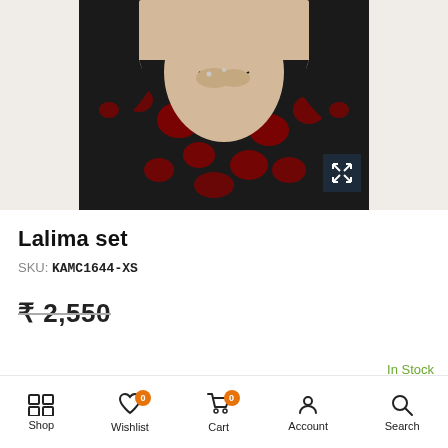[Figure (photo): A person wearing a black and red floral long-sleeve dress, showing torso and skirt, hands clasped in front.]
Lalima set
SKU: KAMC1644-XS
₹ 2,550
In Stock
Shop  Wishlist 0  Cart 0  Account  Search